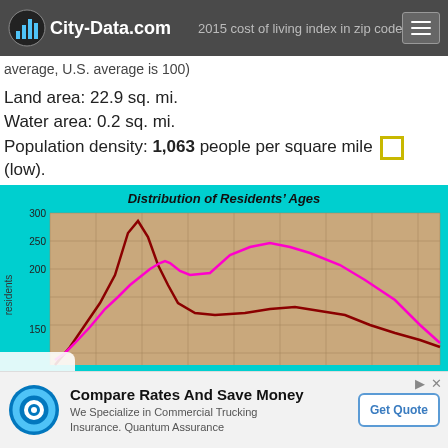City-Data.com — 2015 cost of living index in zip code 44139: 97.4 (near average, U.S. average is 100)
Land area: 22.9 sq. mi.
Water area: 0.2 sq. mi.
Population density: 1,063 people per square mile (low).
[Figure (continuous-plot): Line chart showing distribution of residents ages for zip code 44139. Two curved lines (magenta/pink and dark red/maroon) plotted against age on x-axis and number of residents on y-axis. Y-axis shows values from about 150 to 300. Both lines show peaks around early ages then decline, with a second broader peak for the magenta line around middle age.]
Compare Rates And Save Money
We Specialize in Commercial Trucking Insurance. Quantum Assurance